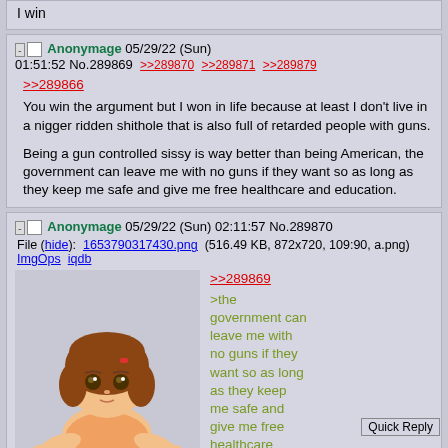I win
Anonymage 05/29/22 (Sun) 01:51:52 No.289869 >>289870 >>289871 >>289879
>>289866
You win the argument but I won in life because at least I don't live in a nigger ridden shithole that is also full of retarded people with guns.

Being a gun controlled sissy is way better than being American, the government can leave me with no guns if they want so as long as they keep me safe and give me free healthcare and education.
Anonymage 05/29/22 (Sun) 02:11:57 No.289870
File (hide): 1653790317430.png (516.49 KB, 872x720, 109:90, a.png) ImgOps iqdb
[Figure (illustration): Anime girl with brown hair, shrugging pose with open hands]
>>289869
>the government can leave me with no guns if they want so as long as they keep me safe and give me free healthcare